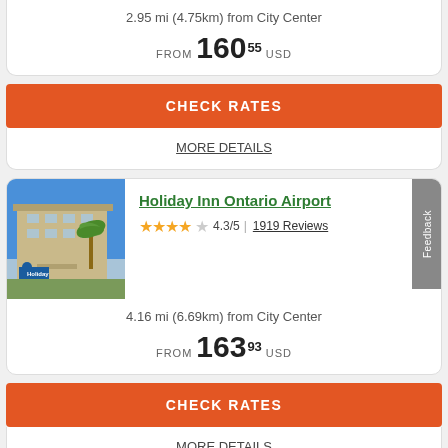2.95 mi (4.75km) from City Center
FROM 160 55 USD
CHECK RATES
MORE DETAILS
[Figure (photo): Holiday Inn Ontario Airport hotel exterior with palm tree and blue sky]
Holiday Inn Ontario Airport
4.3/5 | 1919 Reviews
4.16 mi (6.69km) from City Center
FROM 163 93 USD
CHECK RATES
MORE DETAILS
[Figure (photo): Partial view of another hotel at bottom of page]